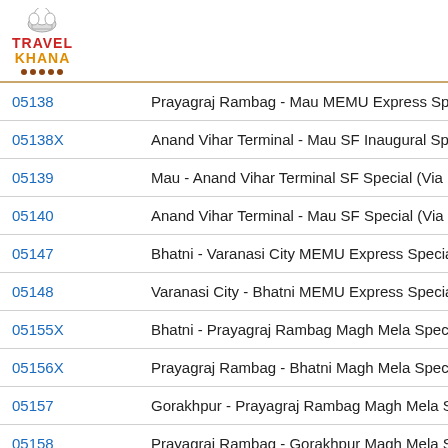[Figure (logo): TravelKhana logo with chef hat icon, red TRAVEL text, orange KHANA text, brown dots underline]
| Train No. | Train Name |
| --- | --- |
| 05138 | Prayagraj Rambag - Mau MEMU Express Spe… |
| 05138X | Anand Vihar Terminal - Mau SF Inaugural Sp… |
| 05139 | Mau - Anand Vihar Terminal SF Special (Via… |
| 05140 | Anand Vihar Terminal - Mau SF Special (Via… |
| 05147 | Bhatni - Varanasi City MEMU Express Specia… |
| 05148 | Varanasi City - Bhatni MEMU Express Specia… |
| 05155X | Bhatni - Prayagraj Rambag Magh Mela Speci… |
| 05156X | Prayagraj Rambag - Bhatni Magh Mela Speci… |
| 05157 | Gorakhpur - Prayagraj Rambag Magh Mela Sp… |
| 05158 | Prayagraj Rambag - Gorakhpur Magh Mela Sp… |